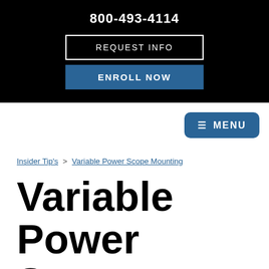800-493-4114
REQUEST INFO
ENROLL NOW
≡ MENU
Insider Tip's > Variable Power Scope Mounting
Variable Power Scope